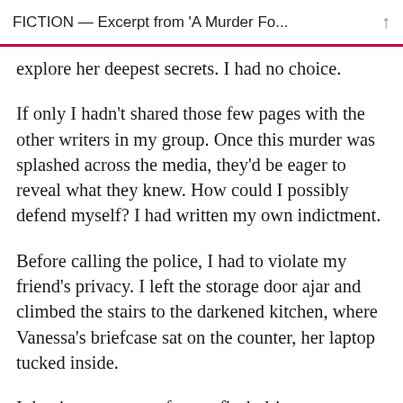FICTION — Excerpt from 'A Murder Fo...
explore her deepest secrets. I had no choice.
If only I hadn't shared those few pages with the other writers in my group. Once this murder was splashed across the media, they'd be eager to reveal what they knew. How could I possibly defend myself? I had written my own indictment.
Before calling the police, I had to violate my friend's privacy. I left the storage door ajar and climbed the stairs to the darkened kitchen, where Vanessa's briefcase sat on the counter, her laptop tucked inside.
I dug into my purse for my flash drive,